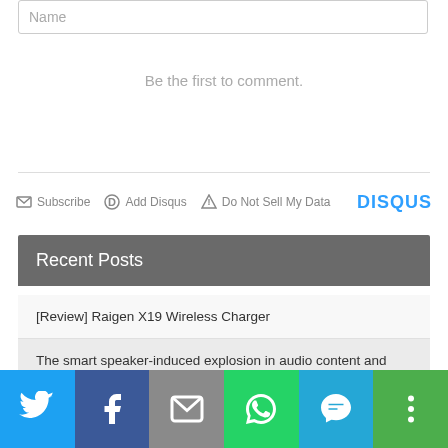Name
Be the first to comment.
Subscribe  Add Disqus  Do Not Sell My Data  DISQUS
Recent Posts
[Review] Raigen X19 Wireless Charger
The smart speaker-induced explosion in audio content and why it matters
[Figure (infographic): Social share bar with Twitter, Facebook, Email, WhatsApp, SMS, and More buttons]